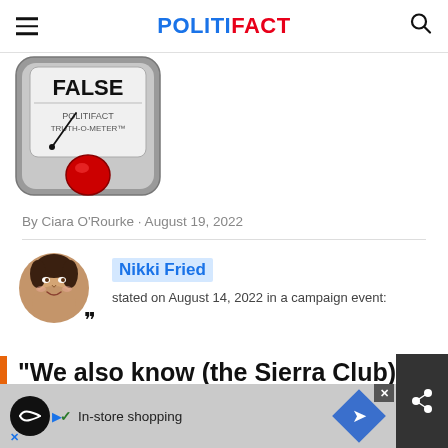POLITIFACT
[Figure (illustration): PolitiFact Truth-O-Meter gauge showing FALSE rating, with a red button on a gray metallic meter face.]
By Ciara O'Rourke · August 19, 2022
[Figure (photo): Circular portrait photo of Nikki Fried with a quote icon overlay.]
Nikki Fried stated on August 14, 2022 in a campaign event:
"We also know (the Sierra Club) paid for those reporters" at th… Pa…